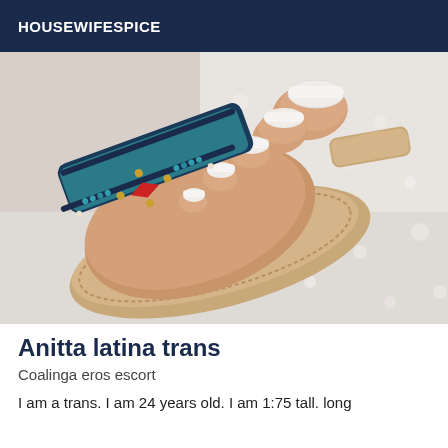HOUSEWIFESPICE
[Figure (photo): Close-up photo of a foot wearing a beaded sandal with colorful pattern (blue, red, gold beads) resting on a white fluffy surface. Toenails are painted with French manicure style white tips.]
Anitta latina trans
Coalinga eros escort
I am a trans. I am 24 years old. I am 1:75 tall. long